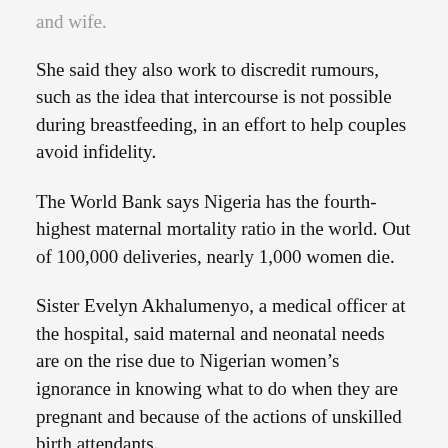and wife.
She said they also work to discredit rumours, such as the idea that intercourse is not possible during breastfeeding, in an effort to help couples avoid infidelity.
The World Bank says Nigeria has the fourth-highest maternal mortality ratio in the world. Out of 100,000 deliveries, nearly 1,000 women die.
Sister Evelyn Akhalumenyo, a medical officer at the hospital, said maternal and neonatal needs are on the rise due to Nigerian women's ignorance in knowing what to do when they are pregnant and because of the actions of unskilled birth attendants.
One of the hospitals' mandates was “specifically to reduce the complications that women go through while giving birth and reduce their mortality rate, including that